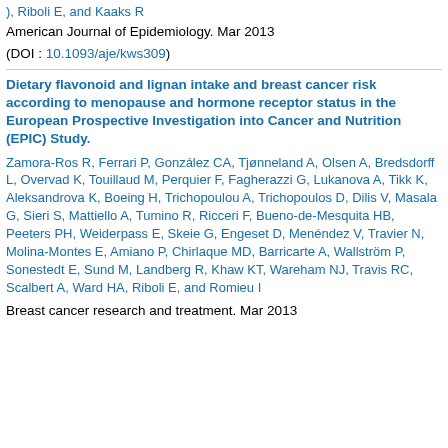), Riboli E, and Kaaks R
American Journal of Epidemiology. Mar 2013
(DOI : 10.1093/aje/kws309)
Dietary flavonoid and lignan intake and breast cancer risk according to menopause and hormone receptor status in the European Prospective Investigation into Cancer and Nutrition (EPIC) Study.
Zamora-Ros R, Ferrari P, González CA, Tjønneland A, Olsen A, Bredsdorff L, Overvad K, Touillaud M, Perquier F, Fagherazzi G, Lukanova A, Tikk K, Aleksandrova K, Boeing H, Trichopoulou A, Trichopoulos D, Dilis V, Masala G, Sieri S, Mattiello A, Tumino R, Ricceri F, Bueno-de-Mesquita HB, Peeters PH, Weiderpass E, Skeie G, Engeset D, Menéndez V, Travier N, Molina-Montes E, Amiano P, Chirlaque MD, Barricarte A, Wallström P, Sonestedt E, Sund M, Landberg R, Khaw KT, Wareham NJ, Travis RC, Scalbert A, Ward HA, Riboli E, and Romieu I
Breast cancer research and treatment. Mar 2013